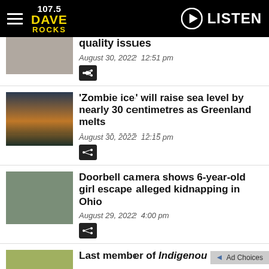107.5 DAVE ROCKS — LISTEN
[Figure (photo): Partial thumbnail image of first article (clipped at top)]
...where car charger came over quality issues
August 30, 2022  12:51 pm
[Figure (photo): Sunset/lake scene with blue tarp — Zombie ice article thumbnail]
'Zombie ice' will raise sea level by nearly 30 centimetres as Greenland melts
August 30, 2022  12:15 pm
[Figure (photo): Outdoor tent/canopy scene — doorbell camera article thumbnail]
Doorbell camera shows 6-year-old girl escape alleged kidnapping in Ohio
August 29, 2022  4:00 pm
[Figure (photo): Partial thumbnail — Last member of Indigenous article]
Last member of Indigenous...